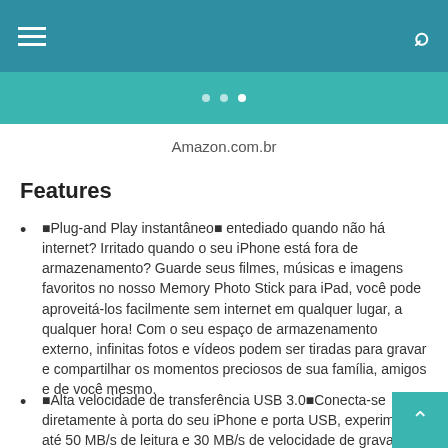Navigation bar with hamburger menu and search icon
[Figure (screenshot): Teal banner with navigation dots]
Amazon.com.br
Features
🔷Plug-and Play instantâneo🔷 entediado quando não há internet? Irritado quando o seu iPhone está fora de armazenamento? Guarde seus filmes, músicas e imagens favoritos no nosso Memory Photo Stick para iPad, você pode aproveitá-los facilmente sem internet em qualquer lugar, a qualquer hora! Com o seu espaço de armazenamento externo, infinitas fotos e vídeos podem ser tiradas para gravar e compartilhar os momentos preciosos de sua família, amigos e de você mesmo.
🔷Alta velocidade de transferência USB 3.0🔷Conecta-se diretamente à porta do seu iPhone e porta USB, experimente até 50 MB/s de leitura e 30 MB/s de velocidade de gravação com porta USB. Aproveite toda